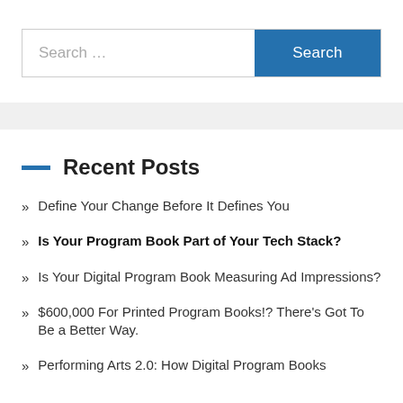[Figure (other): Search bar with text input placeholder 'Search ...' and a blue 'Search' button]
Define Your Change Before It Defines You
Is Your Program Book Part of Your Tech Stack?
Is Your Digital Program Book Measuring Ad Impressions?
$600,000 For Printed Program Books!? There's Got To Be a Better Way.
Performing Arts 2.0: How Digital Program Books